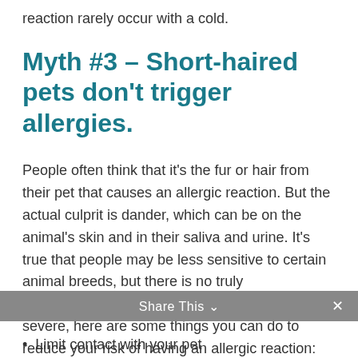reaction rarely occur with a cold.
Myth #3 – Short-haired pets don't trigger allergies.
People often think that it's the fur or hair from their pet that causes an allergic reaction. But the actual culprit is dander, which can be on the animal's skin and in their saliva and urine. It's true that people may be less sensitive to certain animal breeds, but there is no truly hypoallergenic pet. If your pet allergy is not severe, here are some things you can do to reduce your risk of having an allergic reaction:
Share This
Limit contact with your pet